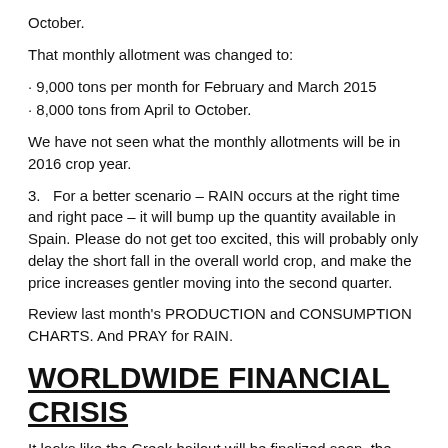October.
That monthly allotment was changed to:
9,000 tons per month for February and March 2015
8,000 tons from April to October.
We have not seen what the monthly allotments will be in 2016 crop year.
3.   For a better scenario – RAIN occurs at the right time and right pace – it will bump up the quantity available in Spain. Please do not get too excited, this will probably only delay the short fall in the overall world crop, and make the price increases gentler moving into the second quarter.
Review last month's PRODUCTION and CONSUMPTION CHARTS. And PRAY for RAIN.
WORLDWIDE FINANCIAL CRISIS
It looks like the Greek bailout will be finalized soon, the U.S.